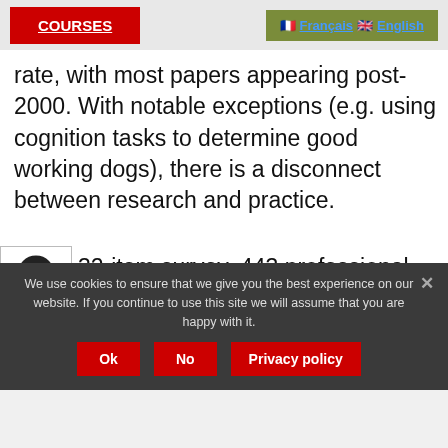COURSES | Français | English
rate, with most papers appearing post-2000. With notable exceptions (e.g. using cognition tasks to determine good working dogs), there is a disconnect between research and practice.
32-item survey, 443 professional dog handlers/trainers indicated which research topics in canine behaviour/cognition would be relevant to their work, how everyday their field is to identify
We use cookies to ensure that we give you the best experience on our website. If you continue to use this site we will assume that you are happy with it.
Ok | No | Privacy policy